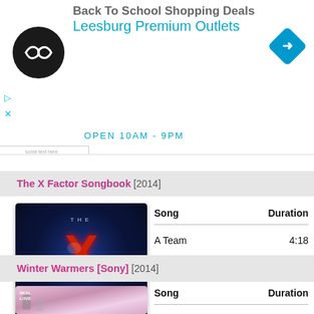[Figure (screenshot): Ad banner for Back To School Shopping Deals at Leesburg Premium Outlets with circular logo and navigation arrow icon]
The X Factor Songbook [2014]
[Figure (photo): The X Factor Songbook album cover with red X logo on dark blue background]
| Song | Duration |
| --- | --- |
| A Team | 4:18 |
Winter Warmers [Sony] [2014]
[Figure (photo): Winter Warmers Sony album cover with colorful background]
| Song | Duration |
| --- | --- |